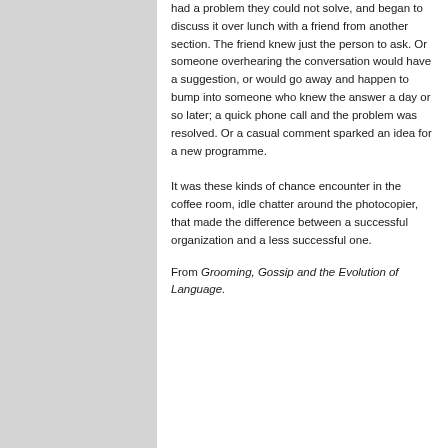had a problem they could not solve, and began to discuss it over lunch with a friend from another section. The friend knew just the person to ask. Or someone overhearing the conversation would have a suggestion, or would go away and happen to bump into someone who knew the answer a day or so later; a quick phone call and the problem was resolved. Or a casual comment sparked an idea for a new programme.
It was these kinds of chance encounter in the coffee room, idle chatter around the photocopier, that made the difference between a successful organization and a less successful one.
From Grooming, Gossip and the Evolution of Language.